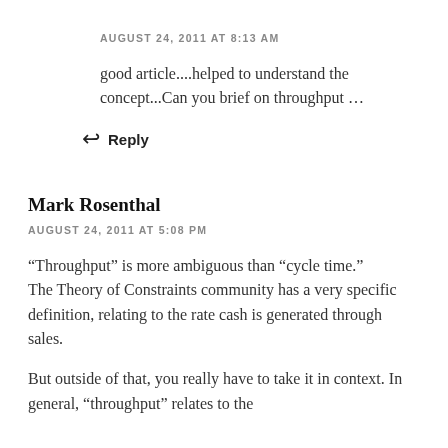AUGUST 24, 2011 AT 8:13 AM
good article....helped to understand the concept...Can you brief on throughput ...
↩ Reply
Mark Rosenthal
AUGUST 24, 2011 AT 5:08 PM
“Throughput” is more ambiguous than “cycle time.”
The Theory of Constraints community has a very specific definition, relating to the rate cash is generated through sales.
But outside of that, you really have to take it in context. In general, “throughput” relates to the